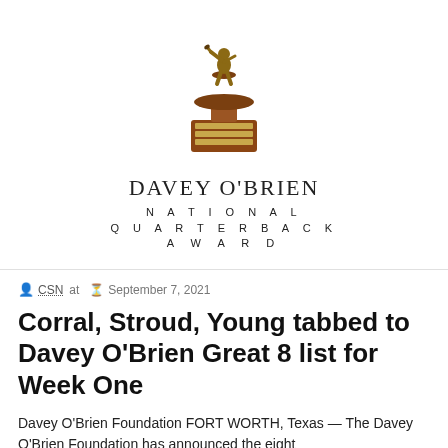[Figure (logo): Davey O'Brien National Quarterback Award trophy image with a bronze football player statue on a wooden pedestal with gold plaques, and the award name text below: DAVEY O'BRIEN / NATIONAL / QUARTERBACK / AWARD]
CSN at   September 7, 2021
Corral, Stroud, Young tabbed to Davey O'Brien Great 8 list for Week One
Davey O'Brien Foundation FORT WORTH, Texas — The Davey O'Brien Foundation has announced the eight quarterbacks chosen for the Davey O'Brien Great 8 list